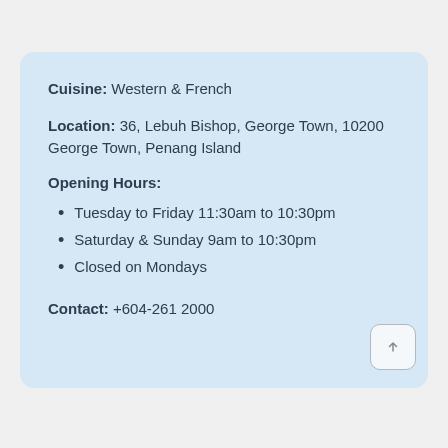Cuisine: Western & French
Location: 36, Lebuh Bishop, George Town, 10200 George Town, Penang Island
Opening Hours:
Tuesday to Friday 11:30am to 10:30pm
Saturday & Sunday 9am to 10:30pm
Closed on Mondays
Contact: +604-261 2000